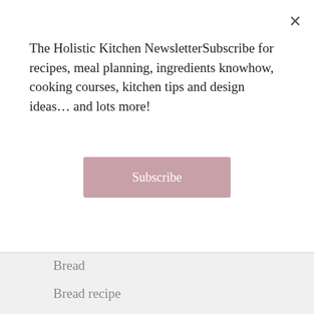The Holistic Kitchen NewsletterSubscribe for recipes, meal planning, ingredients knowhow, cooking courses, kitchen tips and design ideas… and lots more!
Subscribe
Bread
Bread recipe
Breakfast
Breakfast outside the box
Breakfast recipe
Cake
dinner